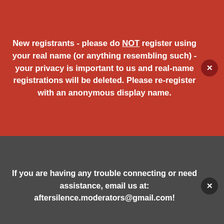New registrants - please do NOT register using your real name (or anything resembling such) - your privacy is important to us and real-name registrations will be deleted. Please re-register with an anonymous display name.
If you are having any trouble connecting or need assistance, email us at: aftersilence.moderators@gmail.com!
blossums replied to AbigailLee's topic in Public: Welcome!
Hi Abigail Welcome to AS What a nice doc, it's definately a lot easier to get support here than face to face and having to say things outloud. Think the anonymity also helps a lot to make it easier to be able to...
October 1, 2011    7 replies
Forums   Unread   Sign In   Register   More